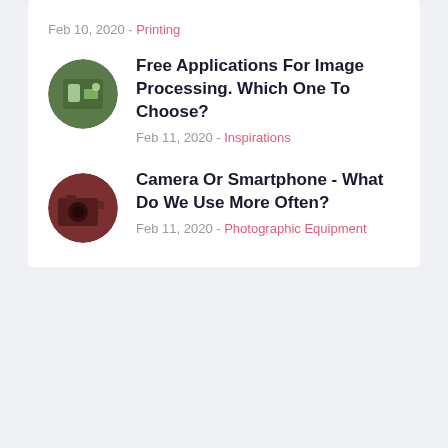Feb 10, 2020 - Printing
Free Applications For Image Processing. Which One To Choose? Feb 11, 2020 - Inspirations
Camera Or Smartphone - What Do We Use More Often? Feb 11, 2020 - Photographic Equipment